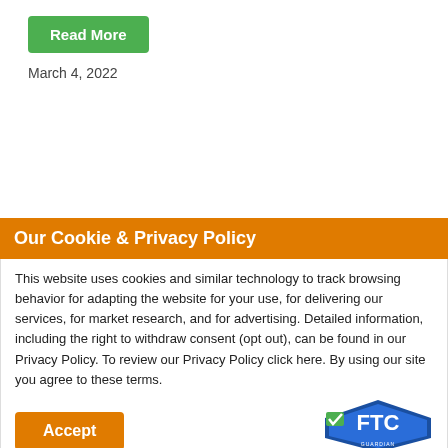Read More
March 4, 2022
Our Cookie & Privacy Policy
This website uses cookies and similar technology to track browsing behavior for adapting the website for your use, for delivering our services, for market research, and for advertising. Detailed information, including the right to withdraw consent (opt out), can be found in our Privacy Policy. To review our Privacy Policy click here. By using our site you agree to these terms.
Accept
Updated with FTC GUARDIAN VERIFIED MEMBER